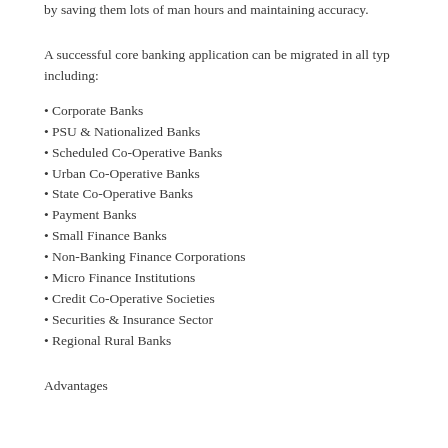by saving them lots of man hours and maintaining accuracy.
A successful core banking application can be migrated in all types of banks including:
Corporate Banks
PSU & Nationalized Banks
Scheduled Co-Operative Banks
Urban Co-Operative Banks
State Co-Operative Banks
Payment Banks
Small Finance Banks
Non-Banking Finance Corporations
Micro Finance Institutions
Credit Co-Operative Societies
Securities & Insurance Sector
Regional Rural Banks
Advantages